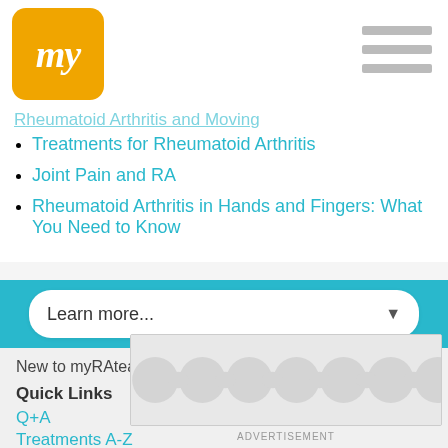my (logo) — myRAteam navigation header
Treatments for Rheumatoid Arthritis
Joint Pain and RA
Rheumatoid Arthritis in Hands and Fingers: What You Need to Know
Learn more...
New to myRAteam? Learn More
Quick Links
Q+A
Treatments A-Z
Resources
[Figure (other): Advertisement banner with decorative circle pattern]
ADVERTISEMENT